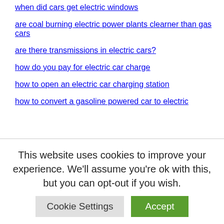when did cars get electric windows
are coal burning electric power plants clearner than gas cars
are there transmissions in electric cars?
how do you pay for electric car charge
how to open an electric car charging station
how to convert a gasoline powered car to electric
This website uses cookies to improve your experience. We'll assume you're ok with this, but you can opt-out if you wish.